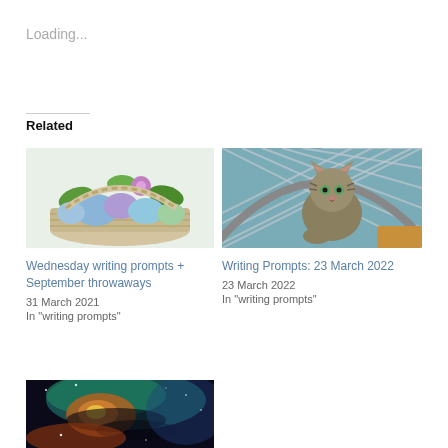Loading...
Related
[Figure (photo): Basket of colorful Easter eggs (blue, purple, green) with flowers and leaves]
Wednesday writing prompts + September throwaways
31 March 2021
In "writing prompts"
[Figure (photo): Kitten looking through chain-link fence, grey tabby cat]
Writing Prompts: 23 March 2022
23 March 2022
In "writing prompts"
[Figure (photo): Colorful nebula/galaxy space image with teal, orange and green hues]